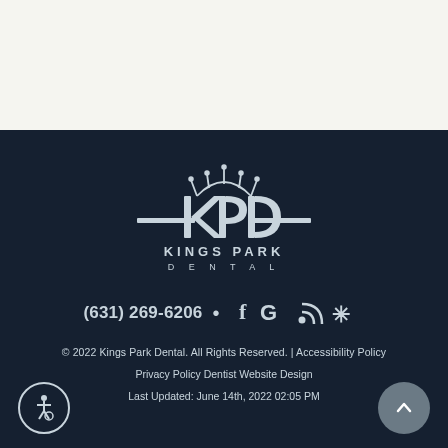[Figure (logo): Kings Park Dental logo — crown icon above KPD letters with horizontal lines, text KINGS PARK DENTAL below]
(631) 269-6206
[Figure (infographic): Social media icons: Facebook, Google, RSS, Yelp]
© 2022 Kings Park Dental. All Rights Reserved. | Accessibility Policy
Privacy Policy Dentist Website Design
Last Updated: June 14th, 2022 02:05 PM